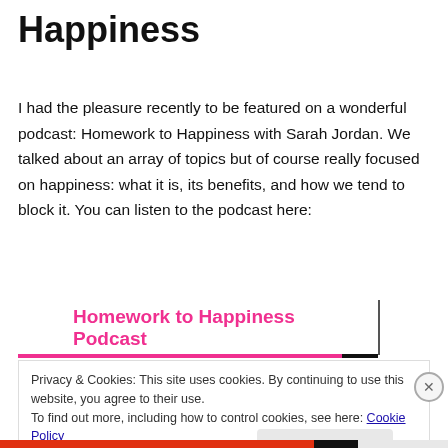Happiness
I had the pleasure recently to be featured on a wonderful podcast: Homework to Happiness with Sarah Jordan. We talked about an array of topics but of course really focused on happiness: what it is, its benefits, and how we tend to block it. You can listen to the podcast here:
[Figure (screenshot): Embedded podcast widget header showing 'Homework to Happiness Podcast' in pink bold text with a horizontal pink/black bar below and a vertical divider line on the right]
Privacy & Cookies: This site uses cookies. By continuing to use this website, you agree to their use.
To find out more, including how to control cookies, see here: Cookie Policy
Close and accept